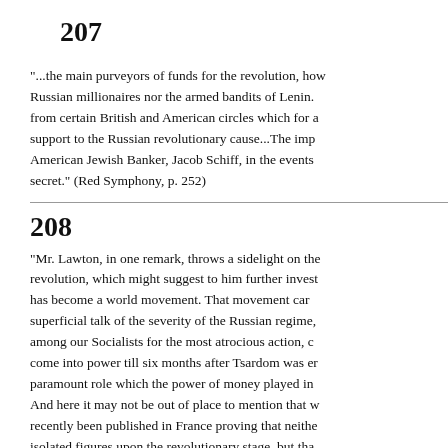207
"...the main purveyors of funds for the revolution, how Russian millionaires nor the armed bandits of Lenin. from certain British and American circles which for a support to the Russian revolutionary cause...The imp American Jewish Banker, Jacob Schiff, in the events secret." (Red Symphony, p. 252)
208
"Mr. Lawton, in one remark, throws a sidelight on the revolution, which might suggest to him further invest has become a world movement. That movement can superficial talk of the severity of the Russian regime, among our Socialists for the most atrocious action, c come into power till six months after Tsardom was er paramount role which the power of money played in And here it may not be out of place to mention that w recently been published in France proving that neithe isolated figures upon the revolutionary stage, but tha backers...
When the first revolution broke out Lenin was in Zuri helped by an old Swiss merchant, who later went to guest of the Revolution, and some time afterwards d obeyed the orders of his pay-masters how long woul